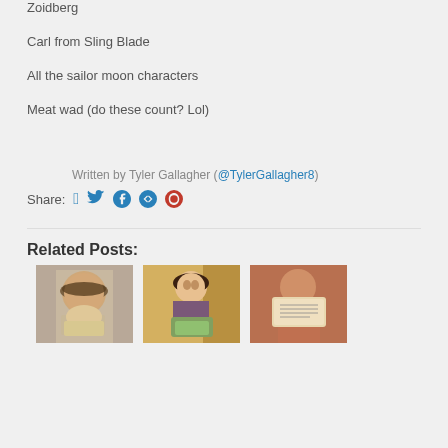Zoidberg
Carl from Sling Blade
All the sailor moon characters
Meat wad (do these count? Lol)
Written by Tyler Gallagher (@TylerGallagher8)
Share:
Related Posts:
[Figure (photo): Three thumbnail photos of people for related posts section]